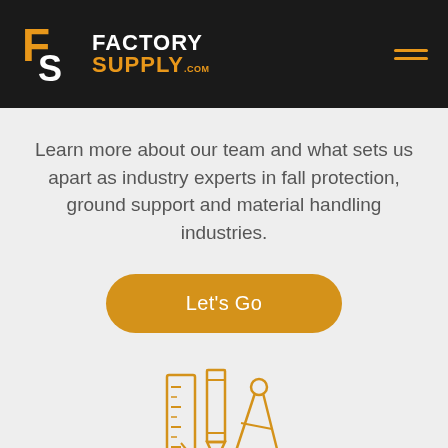[Figure (logo): Factory Supply logo with FS icon in orange and white on dark background, with hamburger menu icon in orange on right]
Learn more about our team and what sets us apart as industry experts in fall protection, ground support and material handling industries.
[Figure (illustration): Orange outlined illustration of drafting/engineering tools: ruler, pencil, and compass]
PROJECTS